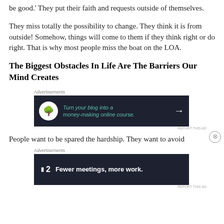be good.' They put their faith and requests outside of themselves.
They miss totally the possibility to change. They think it is from outside! Somehow, things will come to them if they think right or do right. That is why most people miss the boat on the LOA.
The Biggest Obstacles In Life Are The Barriers Our Mind Creates
[Figure (other): Advertisement banner: dark background with tree icon, teal italic text 'Turn your blog into a money-making online course.' and a white arrow]
People want to be spared the hardship. They want to avoid
[Figure (other): Advertisement banner: dark background with F2 logo and bold white text 'Fewer meetings, more work.']